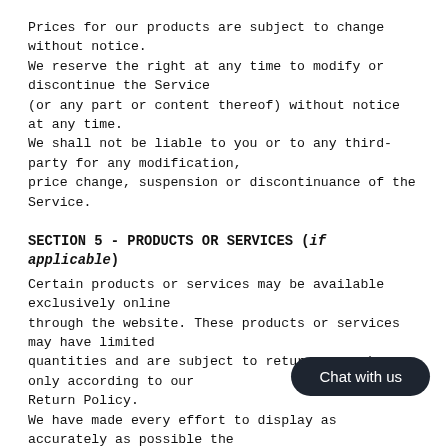Prices for our products are subject to change without notice.
We reserve the right at any time to modify or discontinue the Service (or any part or content thereof) without notice at any time.
We shall not be liable to you or to any third-party for any modification, price change, suspension or discontinuance of the Service.
SECTION 5 - PRODUCTS OR SERVICES (if applicable)
Certain products or services may be available exclusively online through the website. These products or services may have limited quantities and are subject to return or exchange only according to our Return Policy.
We have made every effort to display as accurately as possible the colors and images of our products that appear at the store. We cannot guarantee that your computer monitor's display of any color will be accurate.
We reserve the right, but are not obligated, to products or Services to any person, geographic region or jurisdiction. We may exercise this right on a case-by-case basis. We reserve the